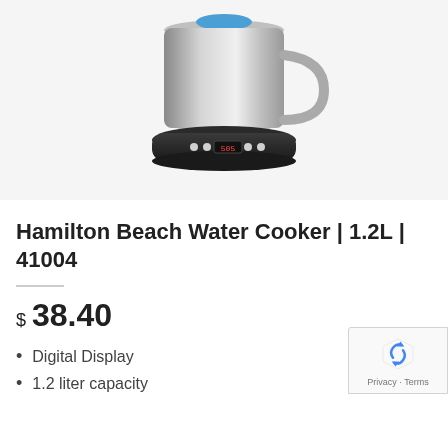[Figure (photo): Hamilton Beach Water Cooker product photo showing a stainless steel kettle/water cooker with a black base featuring a digital display and control buttons]
Hamilton Beach Water Cooker | 1.2L | 41004
$ 38.40
Digital Display
1.2 liter capacity